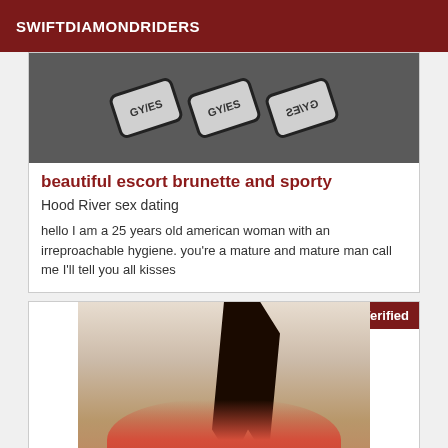SWIFTDIAMONDRIDERS
[Figure (photo): Decorative license plate image with grey plates on dark background]
beautiful escort brunette and sporty
Hood River sex dating
hello I am a 25 years old american woman with an irreproachable hygiene. you're a mature and mature man call me I'll tell you all kisses
[Figure (photo): Woman with dark hair in ponytail, back turned, wearing red outfit. Verified badge in top right corner.]